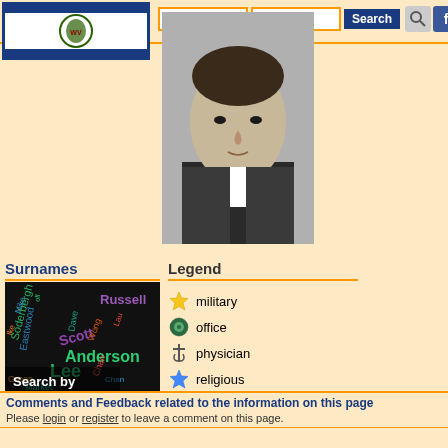[Figure (screenshot): West Virginia state flag in blue border]
[Figure (photo): Black and white portrait photograph of a man in period dress]
Surnames
[Figure (infographic): Word cloud of surnames including Russell, Scott, Lee, Anderson, Eastwood, Soderbergh, Chan, Green, Cole and others on dark background with 'Search by surname' text]
Legend
military
office
physician
religious
Comments and Feedback related to the information on this page
Please login or register to leave a comment on this page.